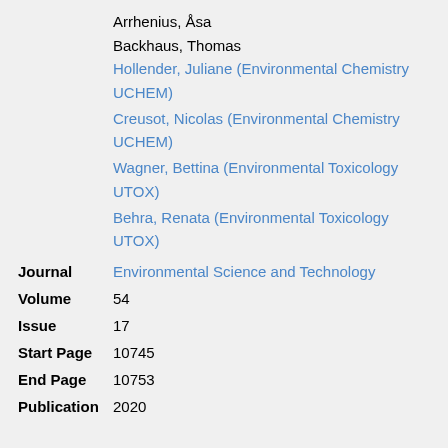Arrhenius, Åsa
Backhaus, Thomas
Hollender, Juliane (Environmental Chemistry UCHEM)
Creusot, Nicolas (Environmental Chemistry UCHEM)
Wagner, Bettina (Environmental Toxicology UTOX)
Behra, Renata (Environmental Toxicology UTOX)
Journal: Environmental Science and Technology
Volume: 54
Issue: 17
Start Page: 10745
End Page: 10753
Publication: 2020